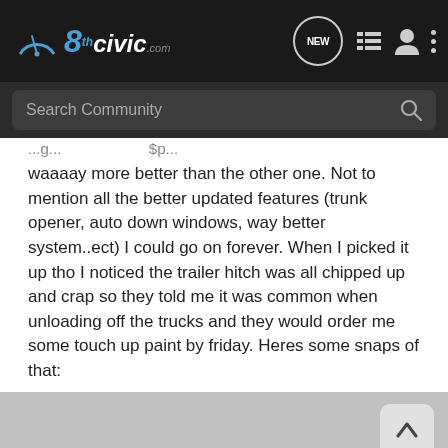8thcivic.com navigation bar with logo, NEW chat bubble, list icon, user icon, and more options
Search Community
waaaay more better than the other one. Not to mention all the better updated features (trunk opener, auto down windows, way better system..ect) I could go on forever. When I picked it up tho I noticed the trailer hitch was all chipped up and crap so they told me it was common when unloading off the trucks and they would order me some touch up paint by friday. Heres some snaps of that:
[Figure (photo): Photo of car surface, grayish background. Scroll-up button visible in top right. Pedal Commander advertisement banner at bottom.]